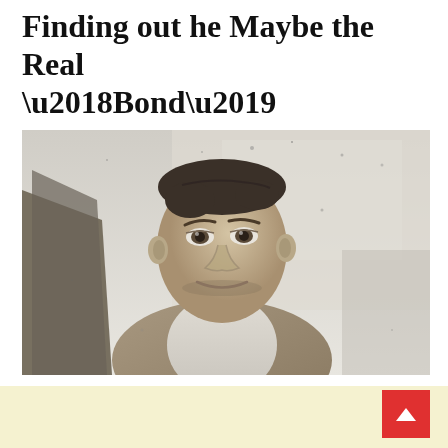Finding out he Maybe the Real ‘Bond’
[Figure (photo): Black and white 1937 photograph of secret service spy James Charles Bond, a young man in a light-colored jacket, smiling slightly, photographed outdoors.]
A 1937 photograph of secret service spy James Charles Bond